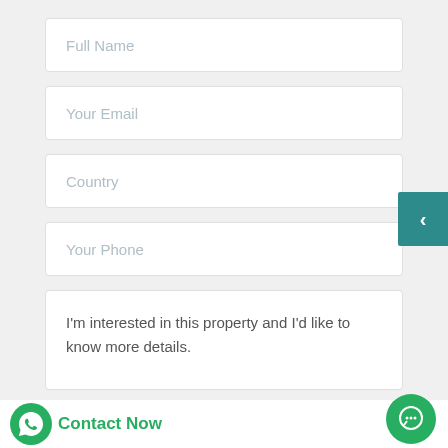Full Name
Your Email
Country
Your Phone
I'm interested in this property and I'd like to know more details.
Contact Now